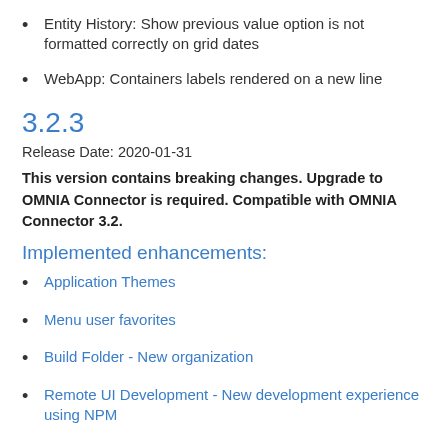Entity History: Show previous value option is not formatted correctly on grid dates
WebApp: Containers labels rendered on a new line
3.2.3
Release Date: 2020-01-31
This version contains breaking changes. Upgrade to OMNIA Connector is required. Compatible with OMNIA Connector 3.2.
Implemented enhancements:
Application Themes
Menu user favorites
Build Folder - New organization
Remote UI Development - New development experience using NPM